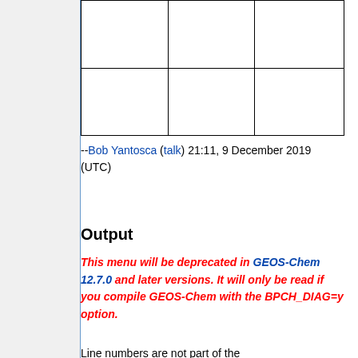|  |  |  |
|  |  |  |
--Bob Yantosca (talk) 21:11, 9 December 2019 (UTC)
Output
This menu will be deprecated in GEOS-Chem 12.7.0 and later versions. It will only be read if you compile GEOS-Chem with the BPCH_DIAG=y option.
Line numbers are not part of the